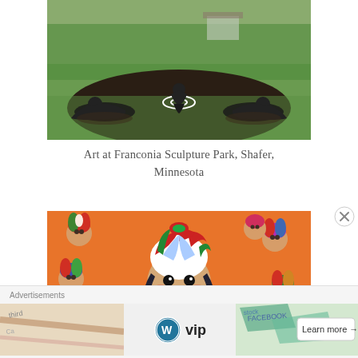[Figure (photo): Outdoor sculpture installation at Franconia Sculpture Park featuring three dark bronze human figures arranged in a circle on a dark gravel bed surrounded by green grass and trees]
Art at Franconia Sculpture Park, Shafer, Minnesota
[Figure (photo): Colorful illustration of a Mexican Maria doll (Lele doll) with a large headdress in red, green, and white colors, surrounded by repeated smaller versions of the same doll on a vibrant patterned background]
Advertisements
[Figure (screenshot): WordPress VIP advertisement banner with WordPress logo, VIP text, and a Learn more arrow button on a map/Facebook themed background]